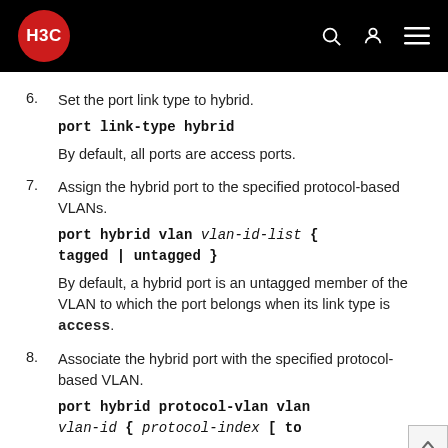H3C
6. Set the port link type to hybrid.
port link-type hybrid
By default, all ports are access ports.
7. Assign the hybrid port to the specified protocol-based VLANs.
port hybrid vlan vlan-id-list { tagged | untagged }
By default, a hybrid port is an untagged member of the VLAN to which the port belongs when its link type is access.
8. Associate the hybrid port with the specified protocol-based VLAN.
port hybrid protocol-vlan vlan vlan-id { protocol-index [ to protocol-index ] | all }